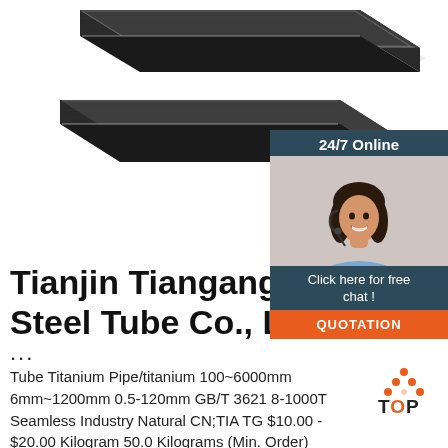[Figure (photo): Two flat dark steel/titanium bars/plates stacked, photographed on white background]
[Figure (infographic): 24/7 Online chat widget with woman wearing headset, 'Click here for free chat!' text, and orange QUOTATION button]
Tianjin Tiangang Weiye Steel Tube Co., Ltd - S...
...
Tube Titanium Pipe/titanium 100~6000mm 6mm~1200mm 0.5-120mm GB/T 3621 8-1000T Seamless Industry Natural CN;TIA TG $10.00 - $20.00 Kilogram 50.0 Kilograms (Min. Order)
[Figure (logo): TOP logo with orange dots triangle above text]